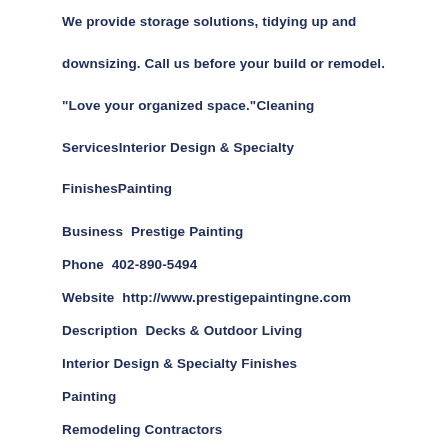We provide storage solutions, tidying up and downsizing. Call us before your build or remodel. "Love your organized space."Cleaning ServicesInterior Design & Specialty FinishesPainting
Business  Prestige Painting
Phone  402-890-5494
Website  http://www.prestigepaintingne.com
Description  Decks & Outdoor Living
Interior Design & Specialty Finishes
Painting
Remodeling Contractors